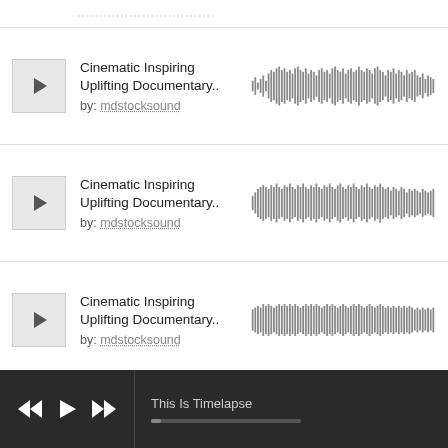[Figure (other): Top partial waveform row cropped at top of page]
[Figure (other): Audio track listing: Cinematic Inspiring Uplifting Documentary.. by mdstocksound with play button and waveform visualization]
[Figure (other): Audio track listing: Cinematic Inspiring Uplifting Documentary.. by mdstocksound with play button and waveform visualization]
[Figure (other): Audio track listing: Cinematic Inspiring Uplifting Documentary.. by mdstocksound with play button and waveform visualization]
This Is Timelapse — bottom media player bar with rewind, play, fast-forward controls and progress bar